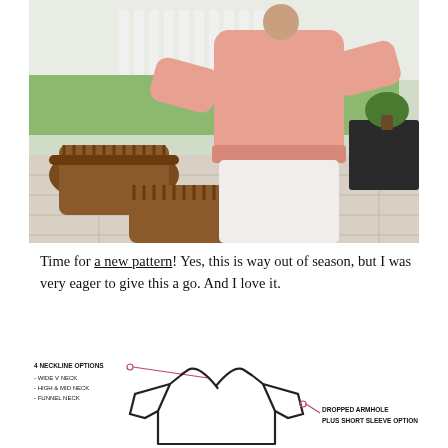[Figure (photo): Outdoor photo of a person wearing a pink oversized sweatshirt and white wide-leg pants, standing on a patio with wicker chairs and a table in the background.]
Time for a new pattern! Yes, this is way out of season, but I was very eager to give this a go. And I love it.
[Figure (illustration): Line drawing/schematic of a sweater pattern with annotations: '4 NECKLINE OPTIONS - WIDE V NECK - HIGH & MID NECK - FUNNEL NECK' with arrow pointing to neckline, and 'DROPPED ARMHOLE PLUS SHORT SLEEVE OPTION' with arrow pointing to armhole area.]